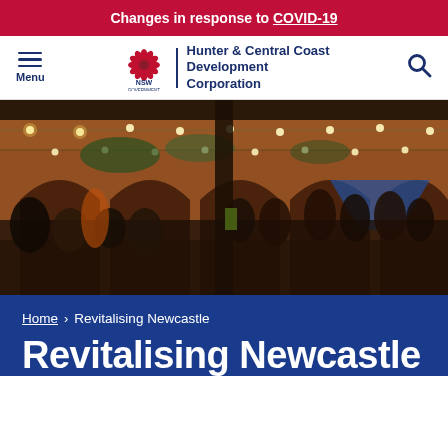Changes in response to COVID-19
[Figure (logo): NSW Government Hunter & Central Coast Development Corporation navigation bar with menu and search icons]
[Figure (photo): Outdoor evening event scene with people socializing under string lights at an arched brick building, market or festival setting]
Home > Revitalising Newcastle
Revitalising Newcastle